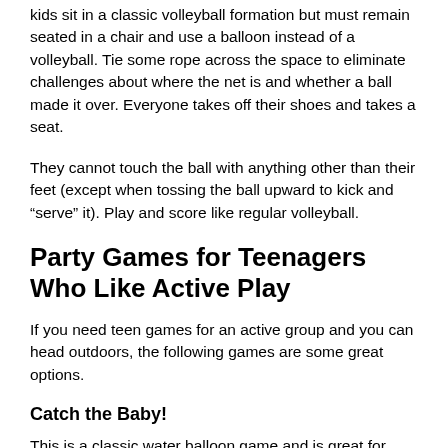kids sit in a classic volleyball formation but must remain seated in a chair and use a balloon instead of a volleyball. Tie some rope across the space to eliminate challenges about where the net is and whether a ball made it over. Everyone takes off their shoes and takes a seat.
They cannot touch the ball with anything other than their feet (except when tossing the ball upward to kick and “serve” it). Play and score like regular volleyball.
Party Games for Teenagers Who Like Active Play
If you need teen games for an active group and you can head outdoors, the following games are some great options.
Catch the Baby!
This is a classic water balloon game and is great for groups of six or more. The game itself is